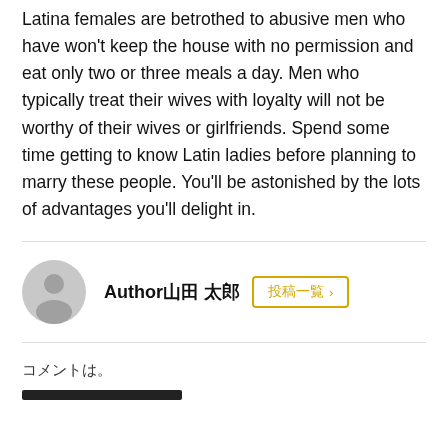Latina females are betrothed to abusive men who have won't keep the house with no permission and eat only two or three meals a day. Men who typically treat their wives with loyalty will not be worthy of their wives or girlfriends. Spend some time getting to know Latin ladies before planning to marry these people. You'll be astonished by the lots of advantages you'll delight in.
Author????? [button: ???? >]
??????